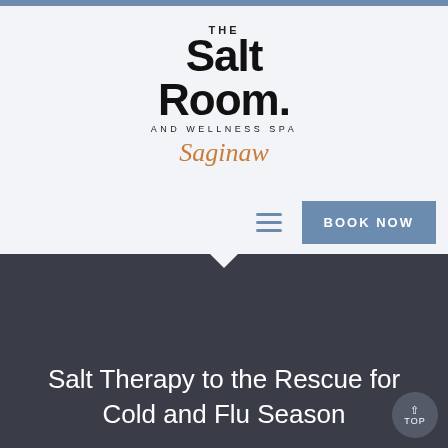[Figure (logo): The Salt Room and Wellness Spa Saginaw logo with black bold serif text and orange cursive Saginaw script]
[Figure (infographic): Navigation bar with hamburger menu icon and blue BOOK NOW button]
Salt Therapy to the Rescue for Cold and Flu Season